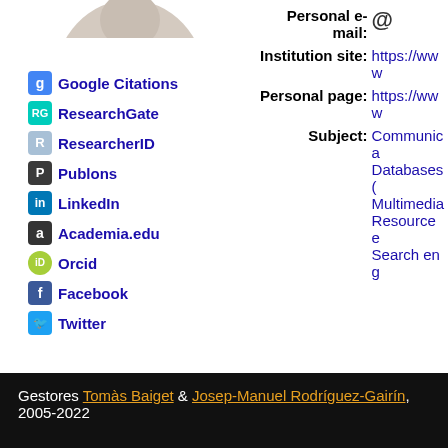[Figure (photo): Partial photo of a person, cropped at top]
Google Citations
ResearchGate
ResearcherID
Publons
LinkedIn
Academia.edu
Orcid
Facebook
Twitter
Personal e-mail: @
Institution site: https://www
Personal page: https://www
Subject: Communica... Databases ... Multimedia ... Resource e... Search eng...
Search in
Search in
Search in
Search in
Gestores Tomàs Baiget & Josep-Manuel Rodríguez-Gairín, 2005-2022